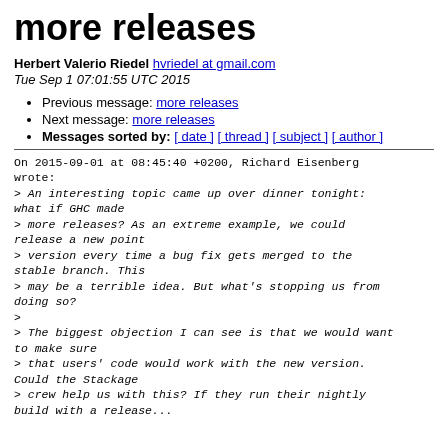more releases
Herbert Valerio Riedel hvriedel at gmail.com
Tue Sep 1 07:01:55 UTC 2015
Previous message: more releases
Next message: more releases
Messages sorted by: [ date ] [ thread ] [ subject ] [ author ]
On 2015-09-01 at 08:45:40 +0200, Richard Eisenberg wrote:
> An interesting topic came up over dinner tonight: what if GHC made
> more releases? As an extreme example, we could release a new point
> version every time a bug fix gets merged to the stable branch. This
> may be a terrible idea. But what's stopping us from doing so?
>
> The biggest objection I can see is that we would want to make sure
> that users' code would work with the new version. Could the Stackage
> crew help us with this? If they run their nightly build with a release...